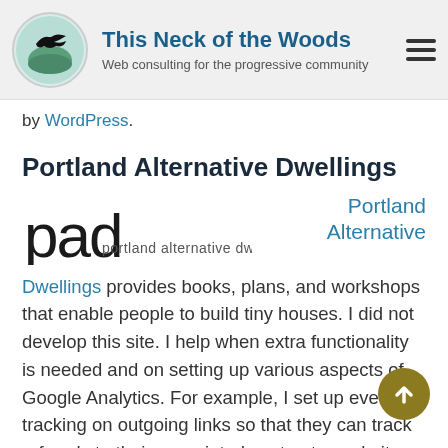This Neck of the Woods — Web consulting for the progressive community
by WordPress.
Portland Alternative Dwellings
[Figure (logo): PAD - portland alternative dwellings logo in black text with orange 'portland alternative dwellings' subtitle]
Portland Alternative Dwellings provides books, plans, and workshops that enable people to build tiny houses. I did not develop this site. I help when extra functionality is needed and on setting up various aspects of Google Analytics. For example, I set up event tracking on outgoing links so that they can track referrals to their associated contractor websites. This site is powered by WordPress.